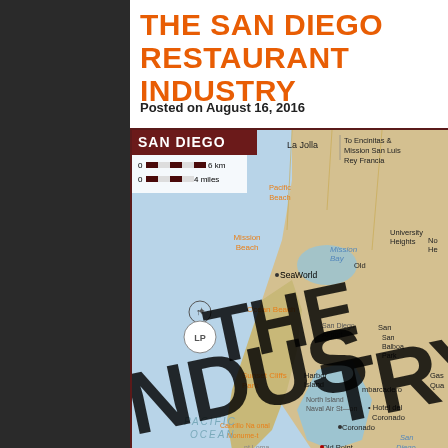THE SAN DIEGO RESTAURANT INDUSTRY
Posted on August 16, 2016
[Figure (map): Map of San Diego region showing Pacific Ocean, neighborhoods including La Jolla, Mission Beach, Ocean Beach, Sunset Cliffs Park, Cabrillo National Monument, Coronado, and San Diego Bay. Scale bar showing 0-6 km and 0-4 miles. Large watermark text reading 'THE INDUSTRY' overlaid on the map.]